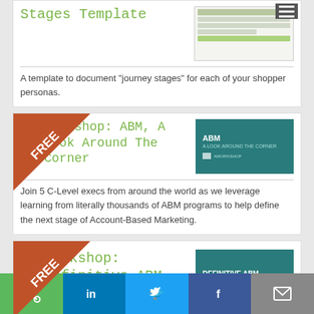Stages Template
[Figure (screenshot): Thumbnail of a spreadsheet template with colored rows]
A template to document "journey stages" for each of your shopper personas.
Workshop: ABM, A Look Around The Corner
[Figure (screenshot): ABM - A Look Around The Corner workshop cover slide with teal background]
Join 5 C-Level execs from around the world as we leverage learning from literally thousands of ABM programs to help define the next stage of Account-Based Marketing.
Workshop: Definitive ABM Success Guide
[Figure (screenshot): Definitive ABM Success Guide workshop cover slide with teal background]